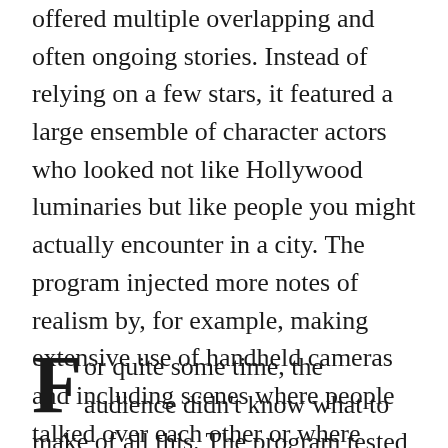offered multiple overlapping and often ongoing stories. Instead of relying on a few stars, it featured a large ensemble of character actors who looked not like Hollywood luminaries but like people you might actually encounter in a city. The program injected more notes of realism by, for example, making extensive use of handheld cameras and including scenes where people talked over each other or where several conversations were conducted simultaneously.
For quite some time, the audience didn't know what to make of all this. The program tested badly before it debuted and ratings